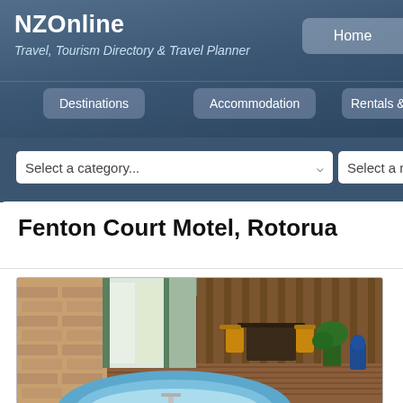NZOnline
Travel, Tourism Directory & Travel Planner
Home
Destinations
Accommodation
Rentals & Transpe
Select a category...
Select a region...
Fenton Court Motel, Rotorua
[Figure (photo): Interior photo of a motel room showing a blue spa bath in the foreground, a sliding door leading to an outdoor patio area with chairs and a table, brick wall on the left, and wooden fence in the background.]